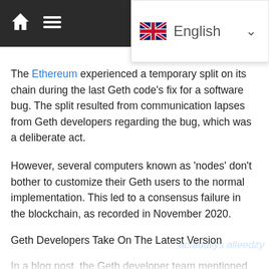Navigation bar with home icon, menu icon, English language selector with UK flag, and share icon
The Ethereum experienced a temporary split on its chain during the last Geth code’s fix for a software bug. The split resulted from communication lapses from Geth developers regarding the bug, which was a deliberate act.
However, several computers known as ‘nodes’ don’t bother to customize their Geth users to the normal implementation. This led to a consensus failure in the blockchain, as recorded in November 2020.
Geth Developers Take On The Latest Version
In a blog post, the Geth developer team mentioned that not exposing the security vulnerability is backed by some reasons. First, the act delays all potential attacks on intending node operators that